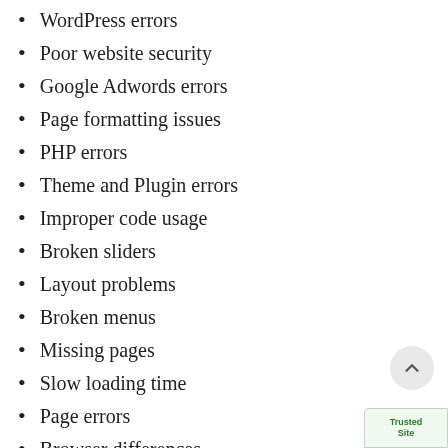WordPress errors
Poor website security
Google Adwords errors
Page formatting issues
PHP errors
Theme and Plugin errors
Improper code usage
Broken sliders
Layout problems
Broken menus
Missing pages
Slow loading time
Page errors
Browser differences
Broken links
Script errors
Backup restoration
Domain changes
Hosting changes
Broken plugins